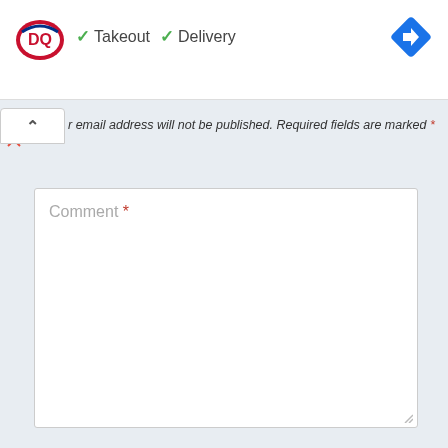[Figure (logo): Dairy Queen (DQ) logo with red and blue oval design]
✓ Takeout  ✓ Delivery
[Figure (other): Blue diamond navigation/directions icon with white arrow]
[Figure (other): Small play and close (X) icons on left side]
Your email address will not be published. Required fields are marked *
Comment *